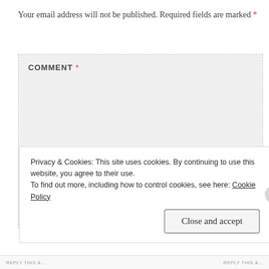Your email address will not be published. Required fields are marked *
[Figure (screenshot): A comment input textarea with label COMMENT * on a light gray background with dashed border]
Privacy & Cookies: This site uses cookies. By continuing to use this website, you agree to their use.
To find out more, including how to control cookies, see here: Cookie Policy
Close and accept